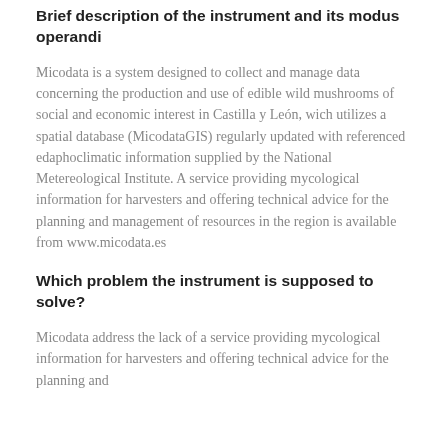Brief description of the instrument and its modus operandi
Micodata is a system designed to collect and manage data concerning the production and use of edible wild mushrooms of social and economic interest in Castilla y León, wich utilizes a spatial database (MicodataGIS) regularly updated with referenced edaphoclimatic information supplied by the National Metereological Institute. A service providing mycological information for harvesters and offering technical advice for the planning and management of resources in the region is available from www.micodata.es
Which problem the instrument is supposed to solve?
Micodata address the lack of a service providing mycological information for harvesters and offering technical advice for the planning and